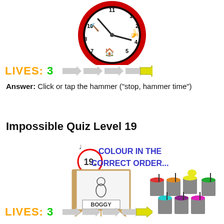[Figure (illustration): A cartoon clock face with a red border, showing number positions replaced with icons: hammer at 10, house at 6/7, banana at 2/3. Clock hands pointing to about 10 and 2.]
LIVES: 3 (with arrow icons)
Answer: Click or tap the hammer (“stop, hammer time”)
Impossible Quiz Level 19
[Figure (screenshot): Game screenshot for level 19 of the Impossible Quiz showing question number 19 in a circle with text COLOUR IN THE CORRECT ORDER... next to an easel with a character labeled BOGGY, and several paint buckets in various colors: red, orange, yellow, cyan, purple, magenta, green.]
LIVES: 3 (with arrow icons)